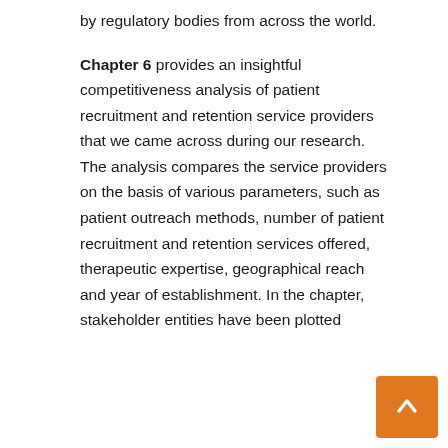by regulatory bodies from across the world.
Chapter 6 provides an insightful competitiveness analysis of patient recruitment and retention service providers that we came across during our research. The analysis compares the service providers on the basis of various parameters, such as patient outreach methods, number of patient recruitment and retention services offered, therapeutic expertise, geographical reach and year of establishment. In the chapter, stakeholder entities have been plotted